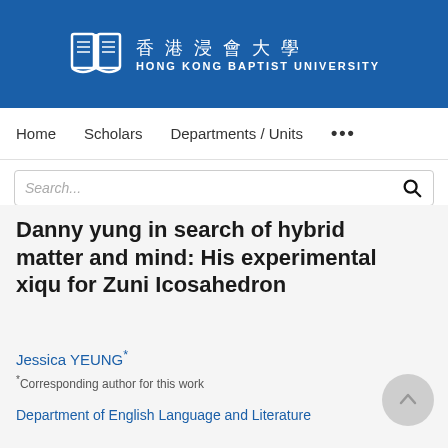[Figure (logo): Hong Kong Baptist University logo with Chinese and English name on blue banner background]
Home   Scholars   Departments / Units   ...
Search...
Danny yung in search of hybrid matter and mind: His experimental xiqu for Zuni Icosahedron
Jessica YEUNG*
*Corresponding author for this work
Department of English Language and Literature